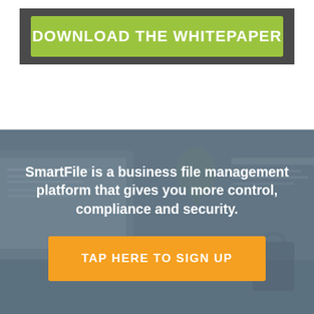[Figure (screenshot): Green button banner on dark background reading 'DOWNLOAD THE WHITEPAPER']
[Figure (photo): Blurred office workspace background with laptop and desk items, overlaid with blue-grey tint]
SmartFile is a business file management platform that gives you more control, compliance and security.
[Figure (screenshot): Orange button reading 'TAP HERE TO SIGN UP']